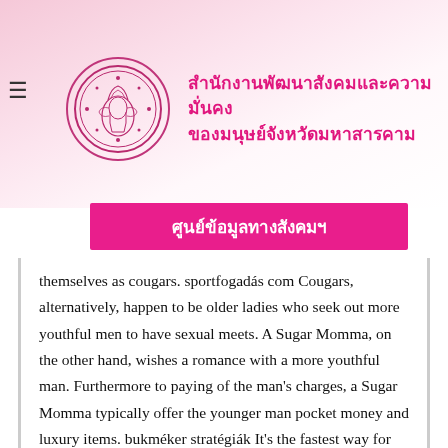สำนักงานพัฒนาสังคมและความมั่นคงของมนุษย์จังหวัดมหาสารคาม
ศูนย์ข้อมูลทางสังคมฯ
themselves as cougars. sportfogadás com Cougars, alternatively, happen to be older ladies who seek out more youthful men to have sexual meets. A Sugar Momma, on the other hand, wishes a romance with a more youthful man. Furthermore to paying of the man's charges, a Sugar Momma typically offer the younger man pocket money and luxury items. bukméker stratégiák It's the fastest way for each party to enjoy themselves.
When searching for a sugar momma, make sure you